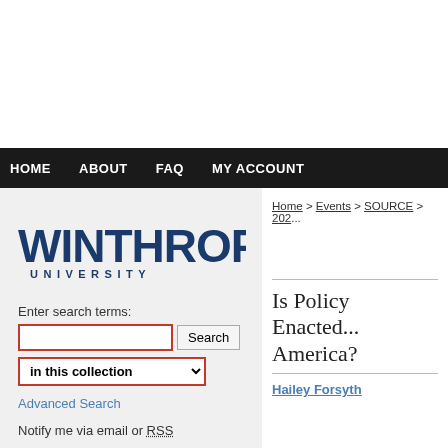[Figure (logo): SOURCE - Showcase of Undergraduate Research and Creative Endeavors logo with musical note and globe, Winthrop University]
HOME   ABOUT   FAQ   MY ACCOUNT
[Figure (logo): Winthrop University logo/wordmark]
Enter search terms:
in this collection
Advanced Search
Notify me via email or RSS
Home > Events > SOURCE > 202...
Is Policy Enacted... America?
Hailey Forsyth